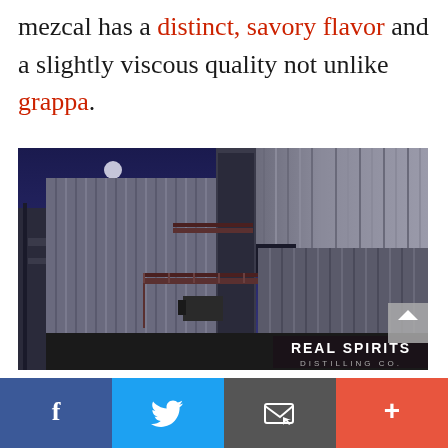mezcal has a distinct, savory flavor and a slightly viscous quality not unlike grappa.
[Figure (photo): Nighttime exterior photo of Real Spirits Distilling Co. building — a corrugated metal industrial structure with exterior staircases and railings, lit under a deep blue night sky with a moon visible. A sign reading 'REAL SPIRITS DISTILLING CO.' is visible at the bottom of the building.]
Social share bar with Facebook, Twitter, Email, and More buttons